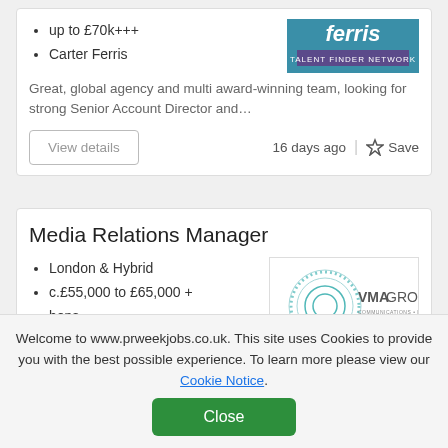up to £70k+++
Carter Ferris
Great, global agency and multi award-winning team, looking for strong Senior Account Director and…
View details
16 days ago
Save
Media Relations Manager
London & Hybrid
c.£55,000 to £65,000 + bens
Welcome to www.prweekjobs.co.uk. This site uses Cookies to provide you with the best possible experience. To learn more please view our Cookie Notice.
Close